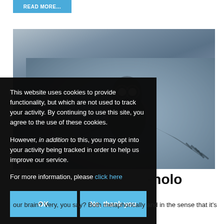READ MORE...
[Figure (photo): A dark, eerie blue-grey photo showing a ghostly alien-like figure with glowing eyes and outstretched hands pressed against a surface, with another set of hands visible on the right side.]
This website uses cookies to provide functionality, but which are not used to track your activity. By continuing to use this site, you agree to the use of these cookies.

However, in addition to this, you may opt into your activity being tracked in order to help us improve our service.

For more information, please click here
OK
No, thank you
-nolo
our brain? Very, you say? Both metaphorically and in the sense that it's